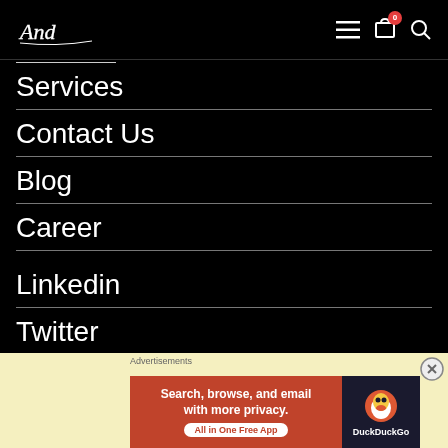[Figure (logo): Script/cursive logo at top left on black header bar]
Services
Contact Us
Blog
Career
Linkedin
Twitter
Instagram
[Figure (screenshot): Advertisement banner: DuckDuckGo - Search, browse, and email with more privacy. All in One Free App]